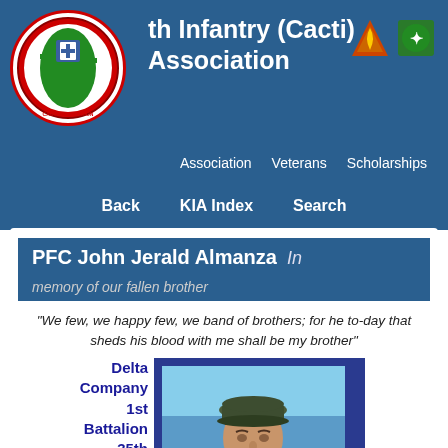35th Infantry (Cacti) Association — Association, Veterans, Scholarships, KIAs, Rosters
Back   KIA Index   Search
PFC John Jerald Almanza   In memory of our fallen brother
"We few, we happy few, we band of brothers; for he to-day that sheds his blood with me shall be my brother"
Delta Company 1st Battalion 35th Infantry Regiment Vietnam War
[Figure (photo): Portrait photo of PFC John Jerald Almanza in military dress uniform with cap, against blue sky background]
"Not For